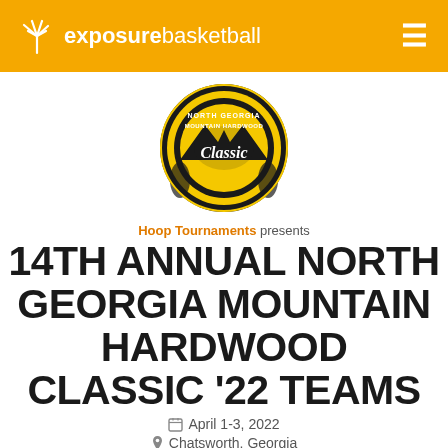exposurebasketball
[Figure (logo): North Georgia Mountain Hardwood Classic tournament logo — circular badge with yellow and black colors, basketball, mountains, and script 'Classic' text]
Hoop Tournaments presents
14TH ANNUAL NORTH GEORGIA MOUNTAIN HARDWOOD CLASSIC '22 TEAMS
April 1-3, 2022
Chatsworth, Georgia